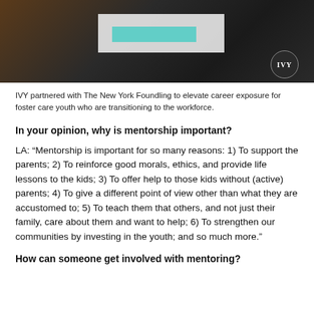[Figure (photo): Photo of people in a meeting or office setting, with a dark background and teal/white office furniture visible. IVY logo badge in lower right corner of image.]
IVY partnered with The New York Foundling to elevate career exposure for foster care youth who are transitioning to the workforce.
In your opinion, why is mentorship important?
LA: “Mentorship is important for so many reasons: 1) To support the parents; 2) To reinforce good morals, ethics, and provide life lessons to the kids; 3) To offer help to those kids without (active) parents; 4) To give a different point of view other than what they are accustomed to; 5) To teach them that others, and not just their family, care about them and want to help; 6) To strengthen our communities by investing in the youth; and so much more.”
How can someone get involved with mentoring?